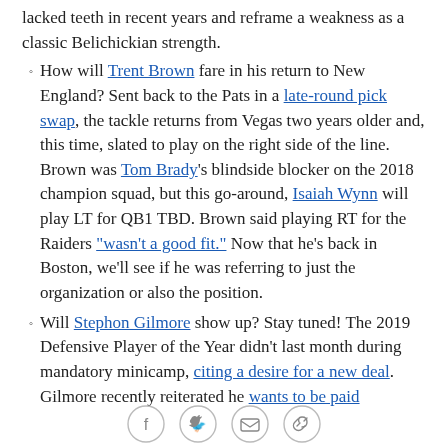lacked teeth in recent years and reframe a weakness as a classic Belichickian strength.
How will Trent Brown fare in his return to New England? Sent back to the Pats in a late-round pick swap, the tackle returns from Vegas two years older and, this time, slated to play on the right side of the line. Brown was Tom Brady's blindside blocker on the 2018 champion squad, but this go-around, Isaiah Wynn will play LT for QB1 TBD. Brown said playing RT for the Raiders "wasn't a good fit." Now that he's back in Boston, we'll see if he was referring to just the organization or also the position.
Will Stephon Gilmore show up? Stay tuned! The 2019 Defensive Player of the Year didn't last month during mandatory minicamp, citing a desire for a new deal. Gilmore recently reiterated he wants to be paid
[Figure (other): Social sharing icons: Facebook, Twitter, Email, Link]